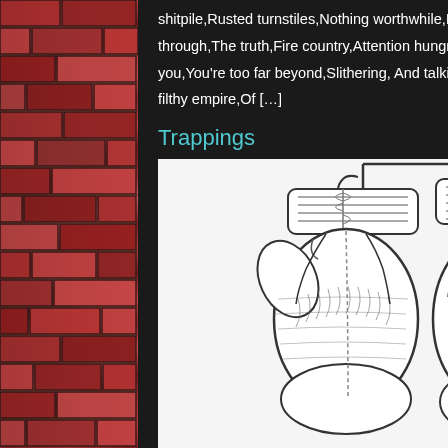shitpile,Rusted turnstiles,Nothing worthwhile,I lost too,Much to you,It's all bled through,The truth,Fire country,Attention hungry,Back full of monkeys,There's no saving you,You're too far beyond,Slithering, And talking long,There's no fixing you,You built a filthy empire,Of […]
Trappings
[Figure (illustration): Pencil sketch illustration of a pair of boxing gloves hanging from their laces on a hook, drawn in black and white with detailed cross-hatching]
Puff,
[Figure (other): Twitter follow button with bird icon in blue]
Like t
Loadi
Poste
Tagge
lesson
poem
thoug